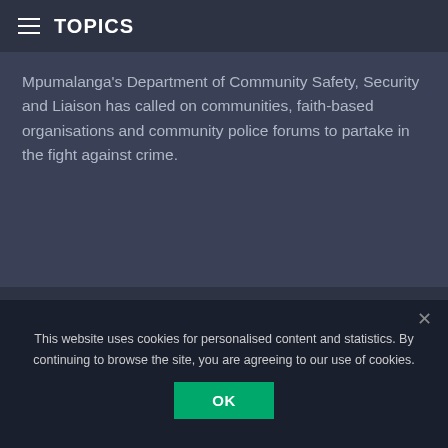TOPICS
Mpumalanga's Department of Community Safety, Security and Liaison has called on communities, faith-based organisations and community police forums to partake in the fight against crime.
[Figure (screenshot): SABC News logo on a dark globe background with SOUTH AFRICA category badge]
This website uses cookies for personalised content and statistics. By continuing to browse the site, you are agreeing to our use of cookies.